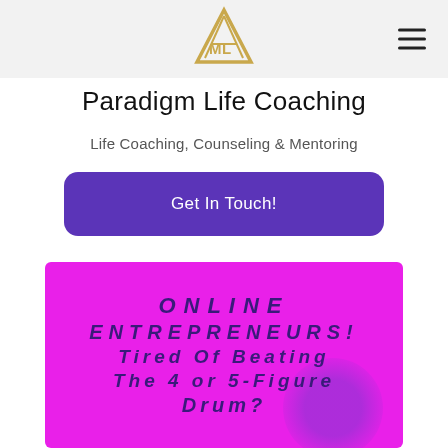Paradigm Life Coaching — navigation header with logo and hamburger menu
Paradigm Life Coaching
Life Coaching, Counseling & Mentoring
Get In Touch!
[Figure (infographic): Magenta/pink banner with bold italic dark purple text reading: ONLINE ENTREPRENEURS! Tired Of Beating The 4 or 5-Figure Drum?]